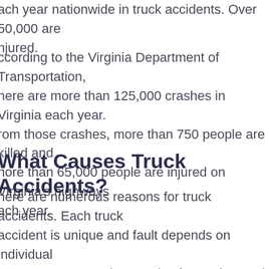each year nationwide in truck accidents. Over 50,000 are injured.
According to the Virginia Department of Transportation, there are more than 125,000 crashes in Virginia each year. From those crashes, more than 750 people are killed and more than 65,000 people are injured on Virginia's highways each year.
What Causes Truck Accidents?
There are numerous reasons for truck accidents. Each truck accident is unique and fault depends on individual circumstances. But thousands of motorists and truck drivers are killed and injured in large trucking accidents primarily resulting from driver error and negligent maintenance by